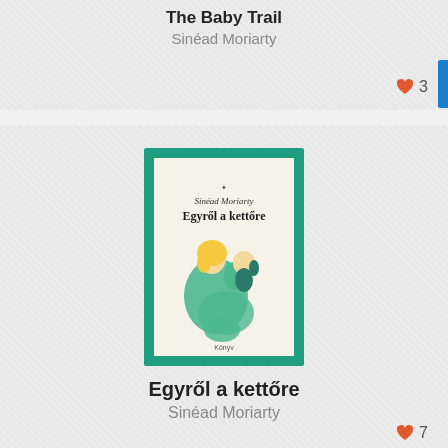The Baby Trail
Sinéad Moriarty
[Figure (illustration): Book cover of 'Egyről a kettőre' by Sinéad Moriarty — teal green border, cream background, illustration of a woman with yellow hair holding a baby, green dress]
Egyről a kettőre
Sinéad Moriarty